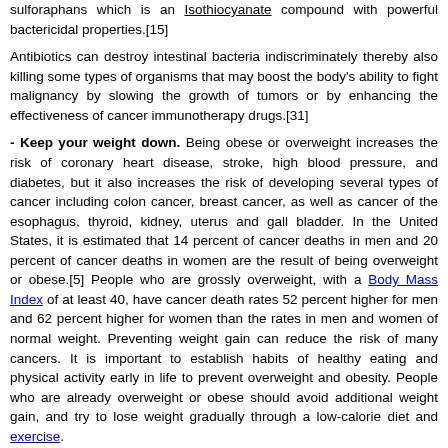sulforaphans which is an Isothiocyanate compound with powerful bactericidal properties.[15]
Antibiotics can destroy intestinal bacteria indiscriminately thereby also killing some types of organisms that may boost the body's ability to fight malignancy by slowing the growth of tumors or by enhancing the effectiveness of cancer immunotherapy drugs.[31]
- Keep your weight down. Being obese or overweight increases the risk of coronary heart disease, stroke, high blood pressure, and diabetes, but it also increases the risk of developing several types of cancer including colon cancer, breast cancer, as well as cancer of the esophagus, thyroid, kidney, uterus and gall bladder. In the United States, it is estimated that 14 percent of cancer deaths in men and 20 percent of cancer deaths in women are the result of being overweight or obese.[5] People who are grossly overweight, with a Body Mass Index of at least 40, have cancer death rates 52 percent higher for men and 62 percent higher for women than the rates in men and women of normal weight. Preventing weight gain can reduce the risk of many cancers. It is important to establish habits of healthy eating and physical activity early in life to prevent overweight and obesity. People who are already overweight or obese should avoid additional weight gain, and try to lose weight gradually through a low-calorie diet and exercise.
- Avoid food contaminated with fungus. Certain types of molds that grow on food produce minute amounts of toxins called mycotoxins. Aspergillus flavus, a fungus that grows mainly on grains and legumes such as peanuts, produces powerful compounds called aflatoxins. Aflatoxins can cause liver disease and liver cancer even when ingested in minute amounts. Molds and fungi grow mostly when the grains or nuts are in storage. Since nuts are harvested only in the late summer to fall,